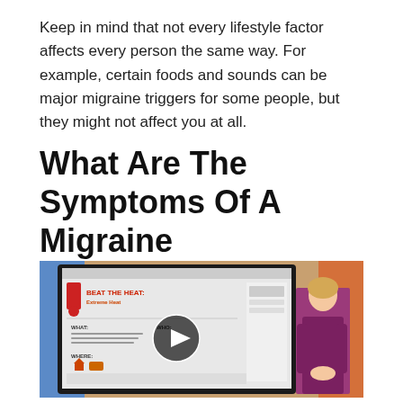Keep in mind that not every lifestyle factor affects every person the same way. For example, certain foods and sounds can be major migraine triggers for some people, but they might not affect you at all.
What Are The Symptoms Of A Migraine
[Figure (screenshot): A video thumbnail showing a news broadcast. A female presenter in a purple dress stands next to a large screen displaying an infographic titled 'BEAT THE HEAT: Extreme Heat' with sections labeled WHAT, WHO, and WHERE. A circular play button is overlaid on the screen.]